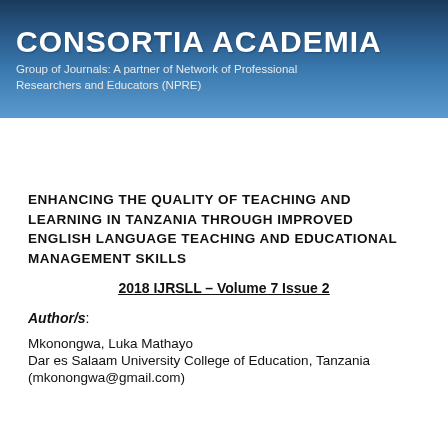CONSORTIA ACADEMIA
Group of Journals: A partner of Network of Professional Researchers and Educators (NPRE)
≡ Menu
ENHANCING THE QUALITY OF TEACHING AND LEARNING IN TANZANIA THROUGH IMPROVED ENGLISH LANGUAGE TEACHING AND EDUCATIONAL MANAGEMENT SKILLS
2018 IJRSLL – Volume 7 Issue 2
Author/s:
Mkonongwa, Luka Mathayo
Dar es Salaam University College of Education, Tanzania
(mkonongwa@gmail.com)